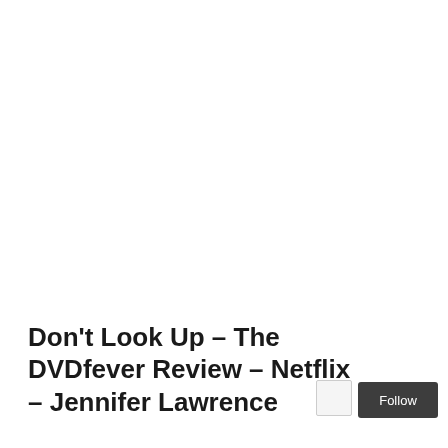Don't Look Up – The DVDfever Review – Netflix – Jennifer Lawrence